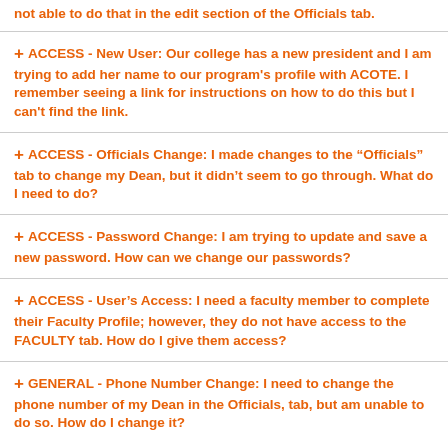not able to do that in the edit section of the Officials tab.
+ ACCESS - New User: Our college has a new president and I am trying to add her name to our program's profile with ACOTE. I remember seeing a link for instructions on how to do this but I can't find the link.
+ ACCESS - Officials Change: I made changes to the "Officials" tab to change my Dean, but it didn't seem to go through. What do I need to do?
+ ACCESS - Password Change: I am trying to update and save a new password. How can we change our passwords?
+ ACCESS - User's Access: I need a faculty member to complete their Faculty Profile; however, they do not have access to the FACULTY tab. How do I give them access?
+ GENERAL - Phone Number Change: I need to change the phone number of my Dean in the Officials, tab, but am unable to do so. How do I change it?